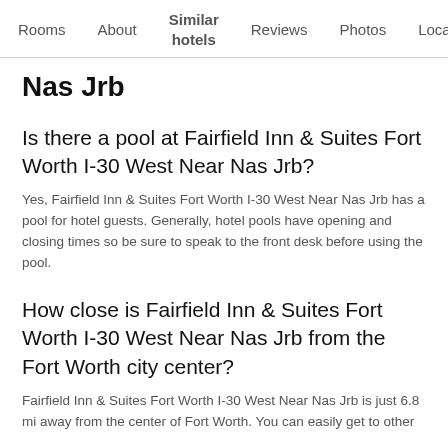Rooms | About | Similar hotels | Reviews | Photos | Loca…
Nas Jrb
Is there a pool at Fairfield Inn & Suites Fort Worth I-30 West Near Nas Jrb?
Yes, Fairfield Inn & Suites Fort Worth I-30 West Near Nas Jrb has a pool for hotel guests. Generally, hotel pools have opening and closing times so be sure to speak to the front desk before using the pool.
How close is Fairfield Inn & Suites Fort Worth I-30 West Near Nas Jrb from the Fort Worth city center?
Fairfield Inn & Suites Fort Worth I-30 West Near Nas Jrb is just 6.8 mi away from the center of Fort Worth. You can easily get to other